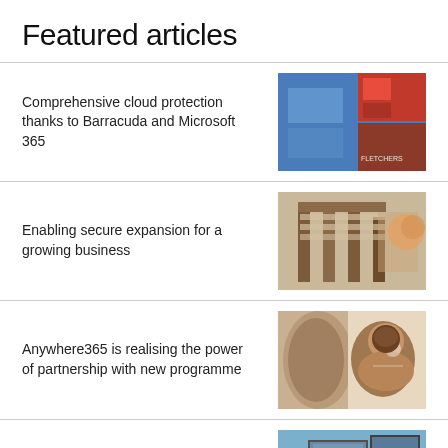Featured articles
Comprehensive cloud protection thanks to Barracuda and Microsoft 365
[Figure (photo): Building exterior with red Fletchers logo sign]
Enabling secure expansion for a growing business
[Figure (photo): Wooden shelving or outdoor display boards]
Anywhere365 is realising the power of partnership with new programme
[Figure (photo): Woman smiling, laughing in conversation]
Crestron begins technology road trip in Brussels
[Figure (photo): Outdoor building or street scene with sign]